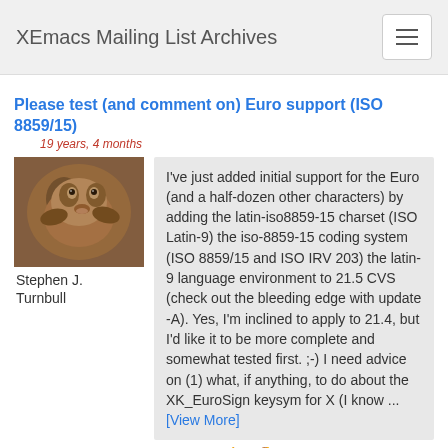XEmacs Mailing List Archives
Please test (and comment on) Euro support (ISO 8859/15)
19 years, 4 months
[Figure (photo): Avatar photo of a dog (dachshund), brown color]
Stephen J. Turnbull
I've just added initial support for the Euro (and a half-dozen other characters) by adding the latin-iso8859-15 charset (ISO Latin-9) the iso-8859-15 coding system (ISO 8859/15 and ISO IRV 203) the latin-9 language environment to 21.5 CVS (check out the bleeding edge with update -A). Yes, I'm inclined to apply to 21.4, but I'd like it to be more complete and somewhat tested first. ;-) I need advice on (1) what, if anything, to do about the XK_EuroSign keysym for X (I know ... [View More]
+0/-0
7 participants
7 comments
package smoketest page now has colors ;-)
19 years, 8 months